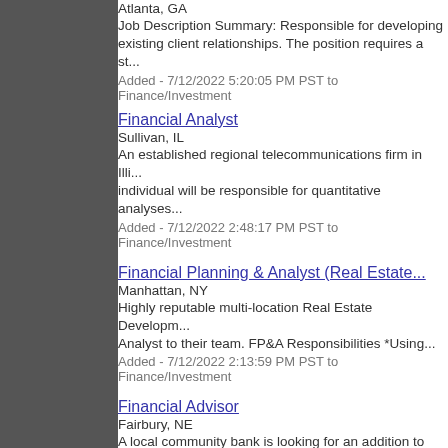Atlanta, GA
Job Description Summary: Responsible for developing existing client relationships. The position requires a st...
Added - 7/12/2022 5:20:05 PM PST to Finance/Investment
Financial Analyst
Sullivan, IL
An established regional telecommunications firm in Illi... individual will be responsible for quantitative analyses...
Added - 7/12/2022 2:48:17 PM PST to Finance/Investment
Financial Planning & Analyst (Real Estate...
Manhattan, NY
Highly reputable multi-location Real Estate Developm... Analyst to their team. FP&A Responsibilities *Using...
Added - 7/12/2022 2:13:59 PM PST to Finance/Investment
Financial Advisor
Fairbury, NE
A local community bank is looking for an addition to th... Financial Advisor looking for an opportunity to join an...
Added - 7/12/2022 2:00:00 PM PST to Finance/Investment
Financial Advisor
Altoona, PA
A local advisory firm is looking for a Financial Advisor... clients to use to achieve their financial goals and...
Added - 7/12/2022 1:58:24 PM PST to Finance/Investment
Financial Advi...